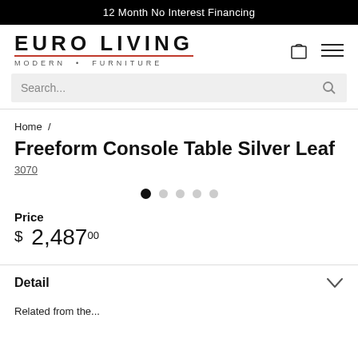12 Month No Interest Financing
[Figure (logo): Euro Living Modern Furniture logo with red underline, shopping bag icon, and hamburger menu icon]
Search...
Home /
Freeform Console Table Silver Leaf
3070
[Figure (other): Image carousel navigation dots, 5 dots with first dot active (filled black)]
Price
$ 2,487.00
Detail
Related from the...